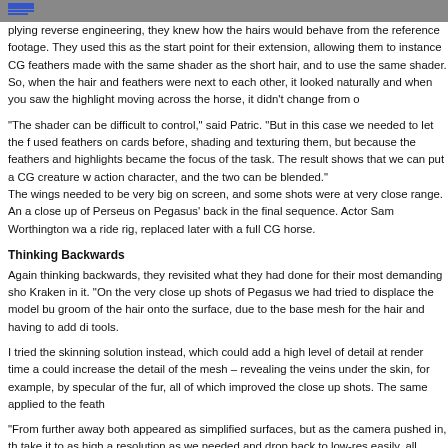plying reverse engineering, they knew how the hairs would behave from the reference footage. They used this as the start point for their extension, allowing them to instance CG feathers made with the same shader as the short hair, and to use the same shader. So, when the hair and feathers were next to each other, it looked naturally and when you saw the highlight moving across the horse, it didn't change from one to the other.
"The shader can be difficult to control," said Patric. "But in this case we needed to let the feathers... We had used feathers on cards before, shading and texturing them, but because the feathers and hair were co-existing, highlights became the focus of the task. The result shows that we can put a CG creature with a real live action character, and the two can be blended."
The wings needed to be very big on screen, and some shots were at very close range. An example of this is a close up of Perseus on Pegasus' back in the final sequence. Actor Sam Worthington was photographed on a ride rig, replaced later with a full CG horse.
Thinking Backwards
Again thinking backwards, they revisited what they had done for their most demanding shots – those with the Kraken in it. "On the very close up shots of Pegasus we had tried to displace the model but had to manually groom of the hair onto the surface, due to the base mesh for the hair and having to add di tools.
I tried the skinning solution instead, which could add a high level of detail at render time and could increase the detail of the mesh – revealing the veins under the skin, for example, by specular of the fur, all of which improved the close up shots. The same applied to the feath
"From further away both appeared as simplified surfaces, but as the camera pushed in, th take it to as high a resolution as we needed and drop back to low-res easily, all handled in can dial the resolutions up or down pretty easily, and make approximations between fast a moving shots."